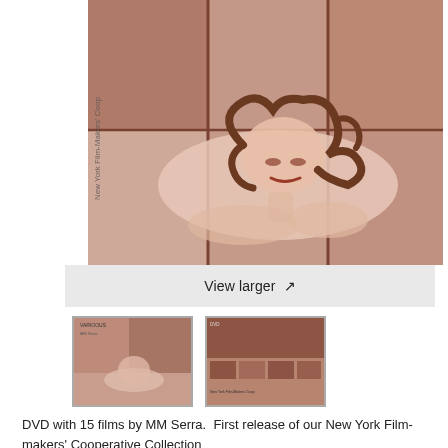[Figure (photo): Stylized artistic image of a reclining woman with swirling hair rendered in sepia/brown tones, with text 'New York Film-Makers' Coop' visible vertically on the left side]
View larger ↗
[Figure (photo): Small thumbnail showing DVD front cover with reclining woman image and text]
[Figure (photo): Small thumbnail showing DVD back cover with multiple film stills and text]
DVD with 15 films by MM Serra.  First release of our New York Film-makers' Cooperative Collection
OFFICIAL RELEASE July 29, 2020